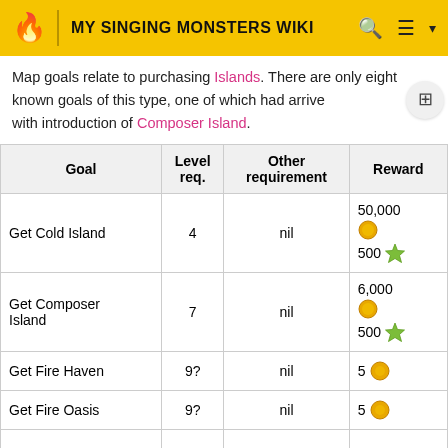MY SINGING MONSTERS WIKI
Map goals relate to purchasing Islands. There are only eight known goals of this type, one of which had arrived with introduction of Composer Island.
| Goal | Level req. | Other requirement | Reward |
| --- | --- | --- | --- |
| Get Cold Island | 4 | nil | 50,000 🪙 500 ⭐ |
| Get Composer Island | 7 | nil | 6,000 🪙 500 ⭐ |
| Get Fire Haven | 9? | nil | 5 💎 |
| Get Fire Oasis | 9? | nil | 5 💎 |